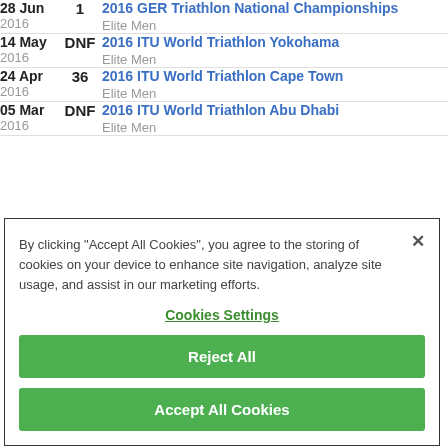| Date | Position | Event |
| --- | --- | --- |
| 28 Jun 2016 | 1 | 2016 GER Triathlon National Championships
Elite Men |
| 14 May 2016 | DNF | 2016 ITU World Triathlon Yokohama
Elite Men |
| 24 Apr 2016 | 36 | 2016 ITU World Triathlon Cape Town
Elite Men |
| 05 Mar 2016 | DNF | 2016 ITU World Triathlon Abu Dhabi
Elite Men |
By clicking "Accept All Cookies", you agree to the storing of cookies on your device to enhance site navigation, analyze site usage, and assist in our marketing efforts.
Cookies Settings
Reject All
Accept All Cookies